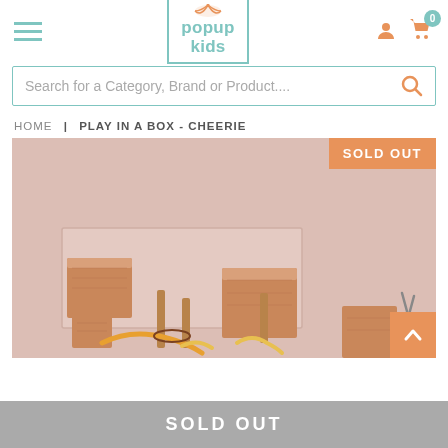[Figure (logo): Popup Kids logo with teal border, orange umbrella icon, teal text 'popup kids']
Search for a Category, Brand or Product....
HOME | PLAY IN A BOX - CHEERIE
[Figure (photo): Wooden building blocks toy set on a pink/blush background, with SOLD OUT orange badge in the top right corner and a back-to-top arrow button in the bottom right]
SOLD OUT